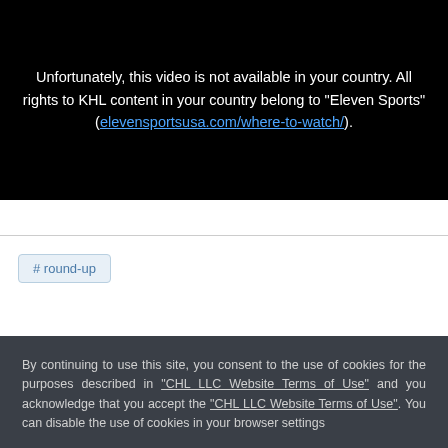[Figure (screenshot): Black video player area showing geo-restriction message in white text with a blue hyperlink to elevensportsusa.com/where-to-watch/]
# round-up
By continuing to use this site, you consent to the use of cookies for the purposes described in "CHL LLC Website Terms of Use" and you acknowledge that you accept the "CHL LLC Website Terms of Use". You can disable the use of cookies in your browser settings